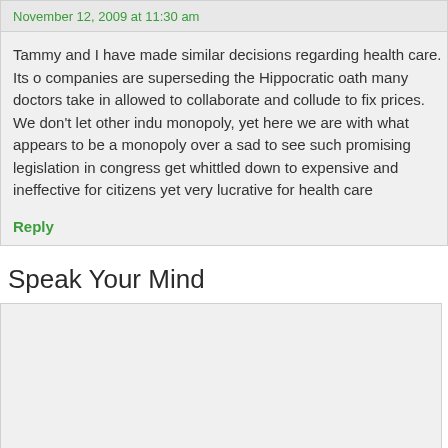November 12, 2009 at 11:30 am
Tammy and I have made similar decisions regarding health care. Its o... companies are superseding the Hippocratic oath many doctors take in... allowed to collaborate and collude to fix prices. We don't let other indu... monopoly, yet here we are with what appears to be a monopoly over a... sad to see such promising legislation in congress get whittled down to... expensive and ineffective for citizens yet very lucrative for health care...
Reply
Speak Your Mind